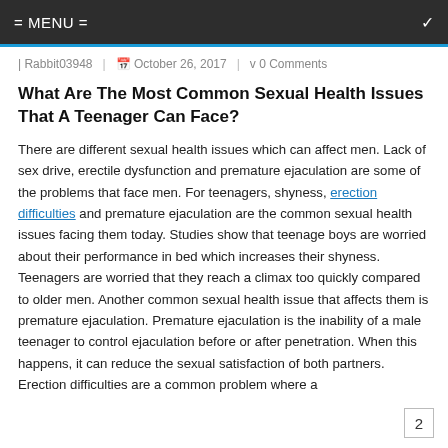= MENU =
| Rabbit03948   | October 26, 2017   | v 0 Comments
What Are The Most Common Sexual Health Issues That A Teenager Can Face?
There are different sexual health issues which can affect men. Lack of sex drive, erectile dysfunction and premature ejaculation are some of the problems that face men. For teenagers, shyness, erection difficulties and premature ejaculation are the common sexual health issues facing them today. Studies show that teenage boys are worried about their performance in bed which increases their shyness. Teenagers are worried that they reach a climax too quickly compared to older men. Another common sexual health issue that affects them is premature ejaculation. Premature ejaculation is the inability of a male teenager to control ejaculation before or after penetration. When this happens, it can reduce the sexual satisfaction of both partners. Erection difficulties are a common problem where a